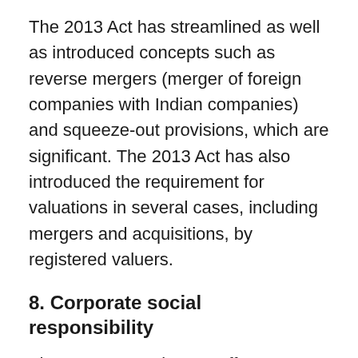The 2013 Act has streamlined as well as introduced concepts such as reverse mergers (merger of foreign companies with Indian companies) and squeeze-out provisions, which are significant. The 2013 Act has also introduced the requirement for valuations in several cases, including mergers and acquisitions, by registered valuers.
8. Corporate social responsibility
The 2013 Act makes an effort to introduce the culture of corporate social responsibility (CSR) in Indian corporates by requiring companies to formulate a corporate social responsibility policy and at least incur a given minimum expenditure on social activities.